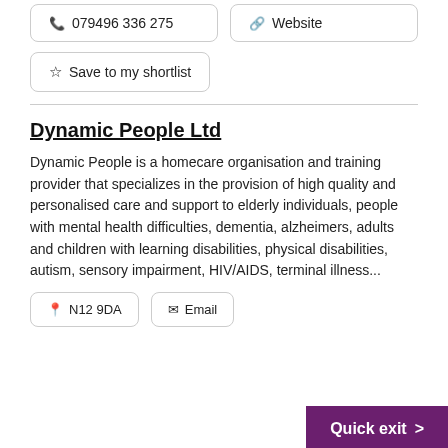079496 336 275
Website
Save to my shortlist
Dynamic People Ltd
Dynamic People is a homecare organisation and training provider that specializes in the provision of high quality and personalised care and support to elderly individuals, people with mental health difficulties, dementia, alzheimers, adults and children with learning disabilities, physical disabilities, autism, sensory impairment, HIV/AIDS, terminal illness...
N12 9DA
Email
Quick exit >